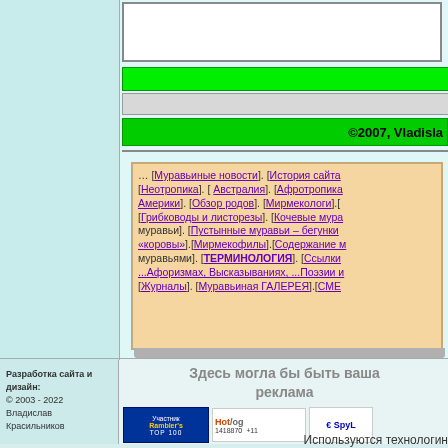[Figure (screenshot): Search box area at top]
[Figure (screenshot): Green navigation bar]
[Figure (screenshot): Gray bar]
©2007, Vladisla
… [Муравьинные новости]. [История сайта [Неотропика]. [ Австралия]. [Афротропика Америки]. [Обзор родов]. [Мирмекологи].[ [Грибководы и листорезы]. [Кочевые мура муравьи]. [Пустынные муравьи – бегунки «коровы»].[Мирмекофилы].[Содержание м муравьями]. [ТЕРМИНОЛОГИЯ]. [Ссылки ...Афоризмах, Высказываниях, ...Поэзии и [Журналы]. [Муравьиная ГАЛЕРЕЯ].[СМЕ
Здесь могла бы быть ваша реклама
Разработка сайта и дизайн:
© 2003 - 2022
Владислав Красильников
[Figure (logo): Rambler TOP 100 badge]
[Figure (logo): HotLog 1418870 +11 badge]
[Figure (logo): SpyL badge]
Используются технологин